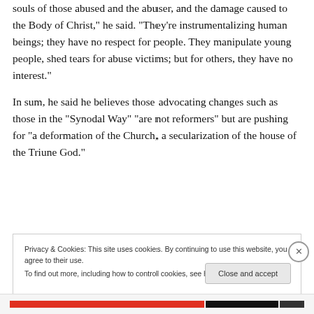souls of those abused and the abuser, and the damage caused to the Body of Christ,” he said. “They’re instrumentalizing human beings; they have no respect for people. They manipulate young people, shed tears for abuse victims; but for others, they have no interest.”
In sum, he said he believes those advocating changes such as those in the “Synodal Way” “are not reformers” but are pushing for “a deformation of the Church, a secularization of the house of the Triune God.”
Privacy & Cookies: This site uses cookies. By continuing to use this website, you agree to their use.
To find out more, including how to control cookies, see here: Cookie Policy